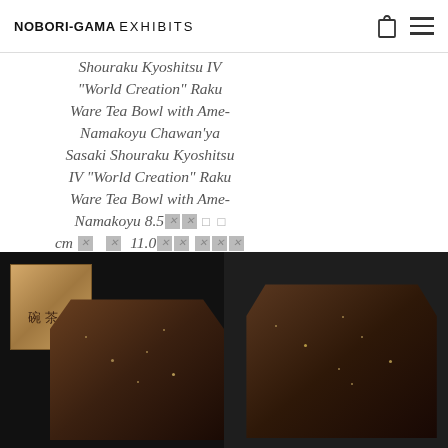NOBORI-GAMA EXHIBITS
[Figure (photo): Partial view of a ceramic tea bowl at the top of the page]
Shouraku Kyoshitsu IV "World Creation" Raku Ware Tea Bowl with Ame-Namakoyu Chawan'ya Sasaki Shouraku Kyoshitsu IV "World Creation" Raku Ware Tea Bowl with Ame-Namakoyu 8.5[corrupted] [corrupted] cm [corrupted] [corrupted] 11.0[corrupted][corrupted] [corrupted][corrupted][corrupted] kirai-kama kiln kyoto he first name of Sasaki sensei is: [corrupted][corrupted][corrupted][corrupted][corrupted], not [corrupted][corrupted] but [corrupted]
[Figure (photo): Left image: wooden box with Japanese calligraphy and dark raku ceramic tea bowl]
[Figure (photo): Right image: dark raku ceramic tea bowl with metallic sparkle glaze]